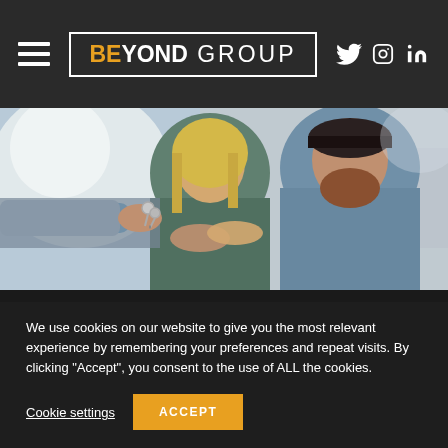BEYOND GROUP — navigation with hamburger menu and social icons (Twitter, Instagram, LinkedIn)
[Figure (photo): A smiling couple receiving house keys from someone handing them over, indoor background, real estate/home ownership theme]
We use cookies on our website to give you the most relevant experience by remembering your preferences and repeat visits. By clicking “Accept”, you consent to the use of ALL the cookies.
Cookie settings   ACCEPT